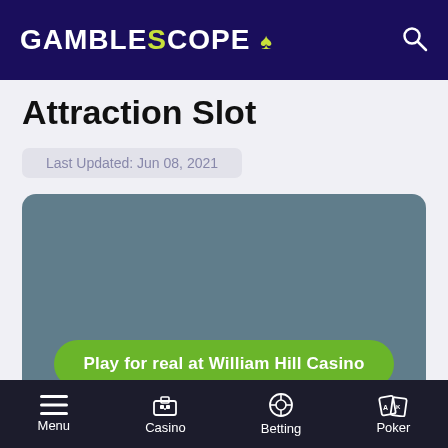GAMBLESCOPE
Attraction Slot
Last Updated: Jun 08, 2021
[Figure (screenshot): Game embed area showing a teal/slate blue placeholder card with a green 'Play for real at William Hill Casino' button at the bottom]
Menu | Casino | Betting | Poker